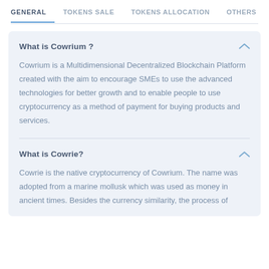GENERAL   TOKENS SALE   TOKENS ALLOCATION   OTHERS
What is Cowrium ?
Cowrium is a Multidimensional Decentralized Blockchain Platform created with the aim to encourage SMEs to use the advanced technologies for better growth and to enable people to use cryptocurrency as a method of payment for buying products and services.
What is Cowrie?
Cowrie is the native cryptocurrency of Cowrium. The name was adopted from a marine mollusk which was used as money in ancient times. Besides the currency similarity, the process of